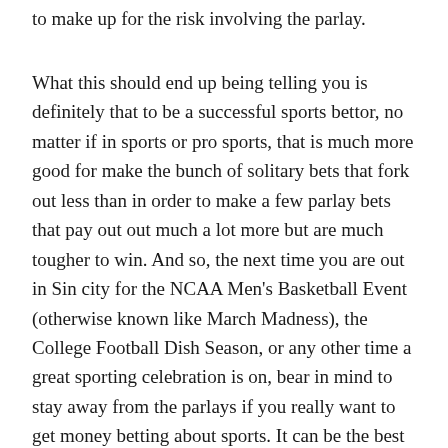to make up for the risk involving the parlay.
What this should end up being telling you is definitely that to be a successful sports bettor, no matter if in sports or pro sports, that is much more good for make the bunch of solitary bets that fork out less than in order to make a few parlay bets that pay out out much a lot more but are much tougher to win. And so, the next time you are out in Sin city for the NCAA Men's Basketball Event (otherwise known like March Madness), the College Football Dish Season, or any other time a great sporting celebration is on, bear in mind to stay away from the parlays if you really want to get money betting about sports. It can be the best selection you ever made.